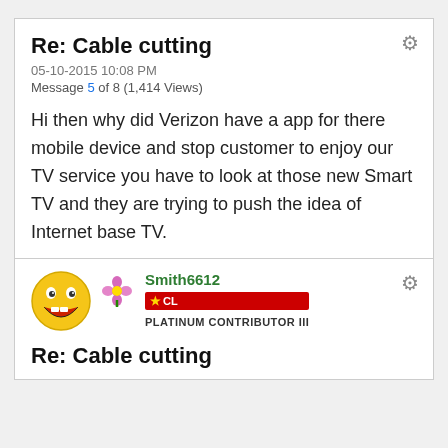Re: Cable cutting
05-10-2015 10:08 PM
Message 5 of 8 (1,414 Views)
Hi then why did Verizon have a app for there mobile device and stop customer to enjoy our TV service you have to look at those new Smart TV and they are trying to push the idea of Internet base TV.
0 Kudos
Reply
[Figure (illustration): Yellow smiley face avatar emoji with wide open mouth and large eyes]
[Figure (illustration): Small flower/plant decorative badge icon]
Smith6612
★ CL
PLATINUM CONTRIBUTOR III
Re: Cable cutting